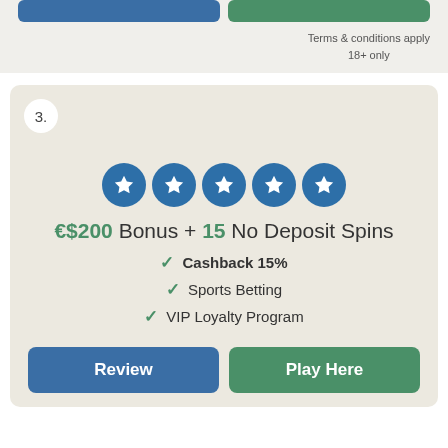Terms & conditions apply
18+ only
3.
[Figure (infographic): Five blue star rating circles in a row]
€$200 Bonus + 15 No Deposit Spins
✓ Cashback 15%
✓ Sports Betting
✓ VIP Loyalty Program
Review
Play Here